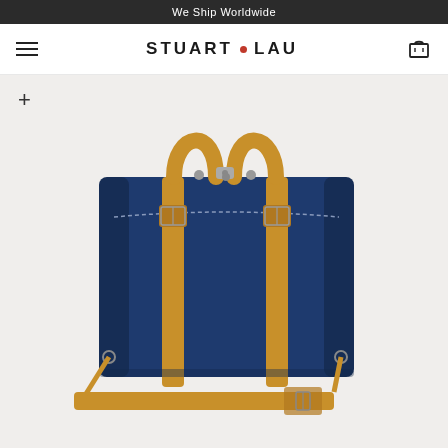We Ship Worldwide
[Figure (logo): Stuart Lau brand logo with hamburger menu on left and shopping bag icon on right]
[Figure (photo): Navy blue briefcase/laptop bag with tan brown leather handles, straps, and shoulder strap. The bag features two tan leather vertical straps with buckles across the front, a zipper closure, and a detachable/adjustable shoulder strap at the bottom. The bag is photographed on a light grey background at a three-quarter angle.]